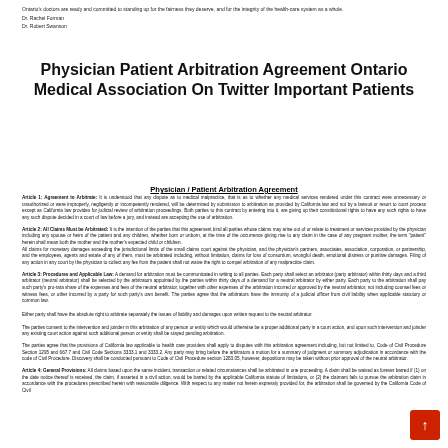Ontario's doctors are ready and committed to standing up for the fairness they deserve, and for the integrity of the health-care system as a whole.

Dr. Rachel Forman
Dr. Robert Swanson
Physician Patient Arbitration Agreement Ontario Medical Association On Twitter Important Patients
Physician / Patient Arbitration Agreement
Article 1: Agreement to Arbitrate: It is understood that any dispute as to medical malpractice, that is as to whether any medical services rendered under this contract were unnecessary or unauthorized or were improperly, negligently or incompetently rendered, will be determined by submission to arbitration as provided by California law and not by a lawsuit or resort to court process except as California law provides for judicial review of arbitration proceedings. Both parties to this contract by entering into it, are giving up their constitutional rights to have any such rights to have any such dispute decided in a court of law before a jury, and instead are accepting the use of arbitration.
Article 2: All Claims Must be Arbitrated: It is the intention of the parties that this agreement bind all parties whose claims may arise out of or relate to treatment or services provided by the physician including any spouse or heirs of the patient and any children, whether born or unborn, at the time of the occurrence giving rise to any claim in the case of any pregnant mother, the term "patient" herein shall mean both the mother and the mother's expected child or children.
All claims for monetary damages exceeding the jurisdictional limits of the small claims court against the physician, and the physician's partners, associates, association, corporation, or partnership, and the employees, agents and estate of any of them, must be arbitrated including, without limitation, claims for loss of consortium, wrongful death, emotional distress or punitive damages. Filing of any action in any court by the physician to collect any fee from the patient shall not waive the right to compel arbitration of any malpractice claim.
Article 3: Procedures and Applicable Law: A demand for arbitration must be communicated in writing to all parties. Each party shall select an arbitrator (party arbitrator) within thirty days and a third arbitrator (neutral arbitrator) shall be selected by the arbitrators appointed by the parties within thirty days of a demand for a neutral arbitrator by either party. Each party to the arbitration shall pay such party's pro-rata share of the expenses and fees of the neutral arbitrator, together with other expenses of the arbitration incurred or approved by the neutral arbitrator, not including counsel fees or witness fees, or other incurred by a party for such party's own benefit. The parties agree that the arbitrators have the immunity of a judicial officer from civil liability when applicable statutory or common law.

Either party shall have the absolute right to arbitrate separately the issues of liability and damages upon written request to the neutral arbitrator.

The parties consent to the intervention and joinder in this arbitration of any person or entity which would otherwise be a proper additional party in a court action, and upon such intervention and joinder any existing court action against such additional person or entity shall be stayed pending arbitration.
The parties agree that the provisions of California law applicable to health care providers shall apply to disputes with this arbitration agreement including, but not limited to, Code of Civil Procedure Section 1295 and 667.7 and Civil Code Sections 3333.1 and 3333.2. Any party may bring before the arbitrators a motion for a summary of judgment or summary adjudication in accordance with the code of Civil Procedure. Discovery shall be conducted pursuant to Code of Civil Procedure section 1283.05, however, depositions may be taken without prior approval of the neutral arbitrator.
Article 4: General Provisions: All claims based upon the same incident, transaction or related circumstances shall be arbitrated in one proceeding. A claim shall be waived as forever barred if (1) on the date notice thereof is received, the claim, if asserted in a civil action, would be barred by the applicable California statute of limitations, or (2) the claimant fails to pursue the arbitration claim in accordance with the procedures prescribed herein with reasonable diligence. With respect to any matter not herein expressly provided for, the arbitration shall be governed by the California Code of Civil